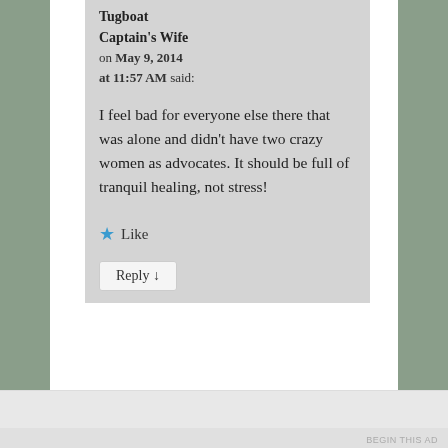Tugboat Captain's Wife on May 9, 2014 at 11:57 AM said:
I feel bad for everyone else there that was alone and didn't have two crazy women as advocates. It should be full of tranquil healing, not stress!
★ Like
Reply ↓
Advertisements